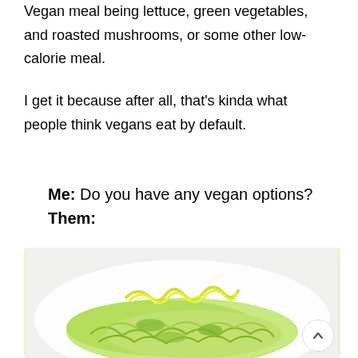Vegan meal being lettuce, green vegetables, and roasted mushrooms, or some other low-calorie meal.
I get it because after all, that's kinda what people think vegans eat by default.
Me: Do you have any vegan options?
Them:
[Figure (photo): A white plate with shredded lettuce/green salad leaves and lemon slices arranged decoratively on top, photographed from above on a white background.]